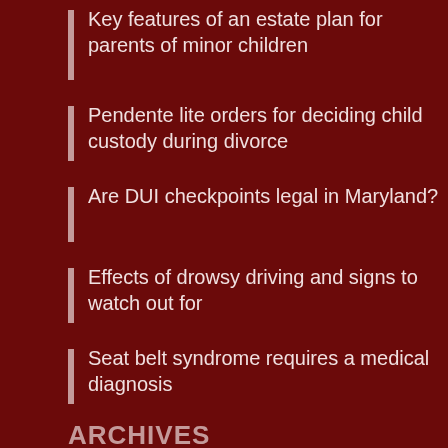Key features of an estate plan for parents of minor children
Pendente lite orders for deciding child custody during divorce
Are DUI checkpoints legal in Maryland?
Effects of drowsy driving and signs to watch out for
Seat belt syndrome requires a medical diagnosis
ARCHIVES